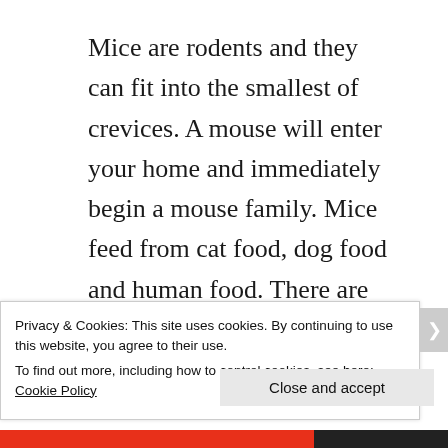Mice are rodents and they can fit into the smallest of crevices. A mouse will enter your home and immediately begin a mouse family. Mice feed from cat food, dog food and human food. There are several diseases that can be spread by mice. Excluding mice and mouse removal is very
Privacy & Cookies: This site uses cookies. By continuing to use this website, you agree to their use.
To find out more, including how to control cookies, see here: Cookie Policy
Close and accept